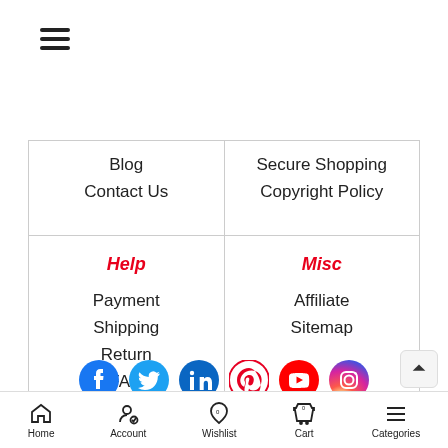[Figure (other): Hamburger menu icon (three horizontal lines)]
|  |  |
| --- | --- |
| Blog
Contact Us | Secure Shopping
Copyright Policy |
| Help
Payment
Shipping
Return
FAQ | Misc
Affiliate
Sitemap |
[Figure (other): Social media icons row: Facebook, Twitter, LinkedIn, Pinterest, YouTube, Instagram]
Copyright © 2022 . Bookswagon.com. All Rights Reserved
Home   Account   Wishlist 0   Cart 0   Categories